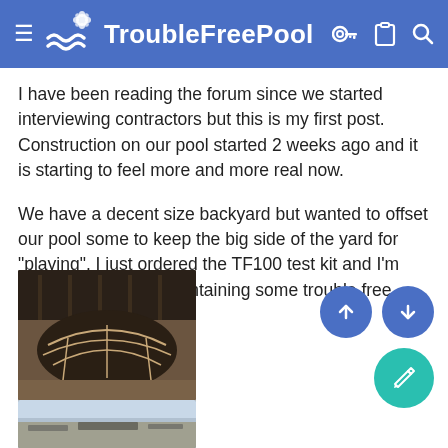TroubleFreePool
I have been reading the forum since we started interviewing contractors but this is my first post. Construction on our pool started 2 weeks ago and it is starting to feel more and more real now.
We have a decent size backyard but wanted to offset our pool some to keep the big side of the yard for "playing". I just ordered the TF100 test kit and I'm looking forward to maintaining some trouble free water.
[Figure (photo): Excavated pool construction site showing dirt and rebar framing in a backyard]
[Figure (photo): Partially visible second pool construction photo at bottom of page]